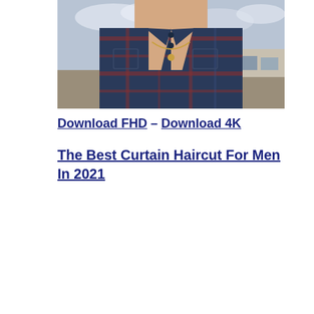[Figure (photo): Young man with curtain hairstyle wearing an open plaid flannel shirt and necklace, standing near railroad tracks with vehicles and overcast sky in background]
Download FHD – Download 4K
The Best Curtain Haircut For Men In 2021